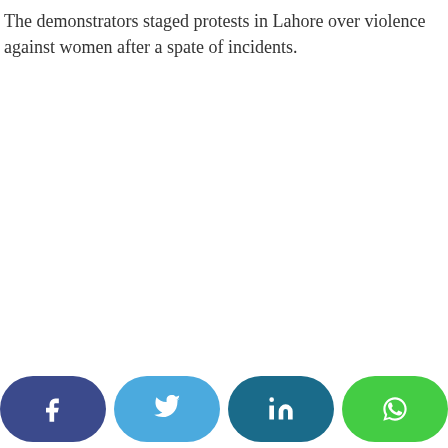The demonstrators staged protests in Lahore over violence against women after a spate of incidents.
[Figure (infographic): Social media sharing buttons: Facebook, Twitter, LinkedIn, WhatsApp]